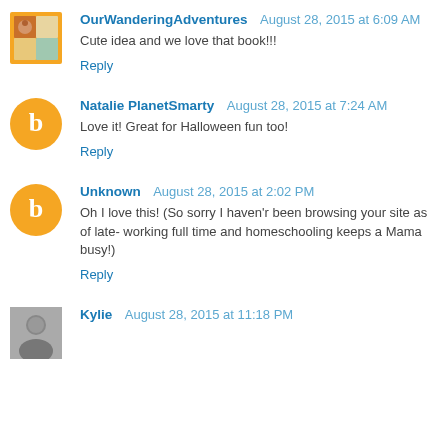OurWanderingAdventures  August 28, 2015 at 6:09 AM
Cute idea and we love that book!!!
Reply
Natalie PlanetSmarty  August 28, 2015 at 7:24 AM
Love it! Great for Halloween fun too!
Reply
Unknown  August 28, 2015 at 2:02 PM
Oh I love this! (So sorry I haven'r been browsing your site as of late- working full time and homeschooling keeps a Mama busy!)
Reply
Kylie  August 28, 2015 at 11:18 PM